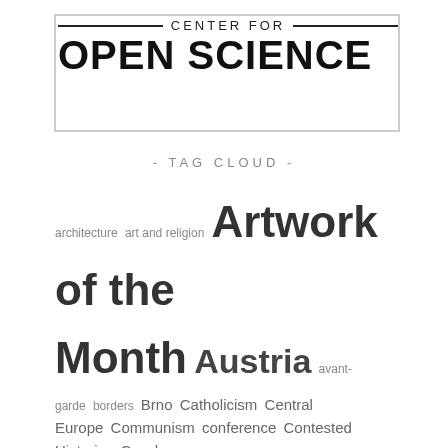[Figure (logo): Center for Open Science logo with horizontal rules flanking 'CENTER FOR' text and bold 'OPEN SCIENCE' below, inside a rectangular border]
- TAG CLOUD -
architecture  art and religion  Artwork of the Month  Austria  avant-garde  borders  Brno  Catholicism  Central Europe  Communism  conference  Contested Histories  Czech art  Czechoslovakia  design  Events  exhibitions  Fascism  gender  Habsburg Empire  heritage  historical memory  Hungary  Košice  modernism  modernist architecture  monuments  national identity  photography  Prague  Publications  religion  reviews  Slovakia  Surrealism  vernacular modernisms  Vienna  women artists  workshop  World's Fairs